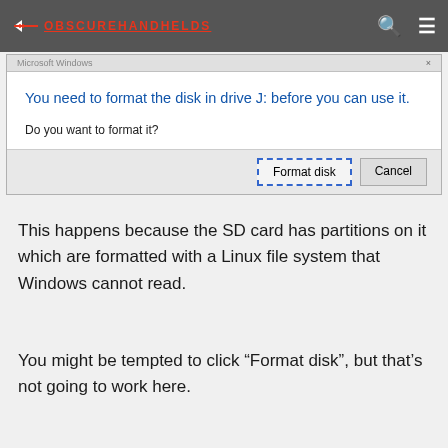OBSCUREHANDHELDS
[Figure (screenshot): Windows dialog box showing: 'You need to format the disk in drive J: before you can use it. Do you want to format it?' with 'Format disk' and 'Cancel' buttons.]
This happens because the SD card has partitions on it which are formatted with a Linux file system that Windows cannot read.
You might be tempted to click "Format disk", but that's not going to work here.